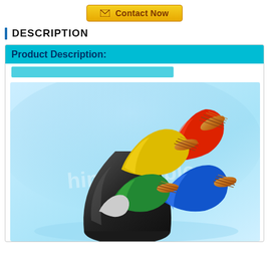[Figure (other): Yellow 'Contact Now' button with envelope icon]
DESCRIPTION
Product Description:
[Figure (photo): Photo of a multi-core power cable with copper conductors and colored insulation (red, yellow, blue, green, white/grey) bundled in black sheath, on light blue background with watermark text 'himncable']